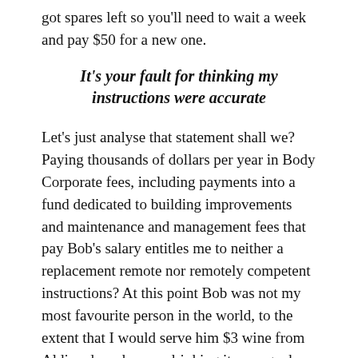got spares left so you'll need to wait a week and pay $50 for a new one.
It's your fault for thinking my instructions were accurate
Let's just analyse that statement shall we? Paying thousands of dollars per year in Body Corporate fees, including payments into a fund dedicated to building improvements and maintenance and management fees that pay Bob's salary entitles me to neither a replacement remote nor remotely competent instructions? At this point Bob was not my most favourite person in the world, to the extent that I would serve him $3 wine from Aldi and say he was drinking it wrong when he remarks it tastes like paint thinner.
Of course, I could only respond kindly to that brilliantly accurate statement from Bob...